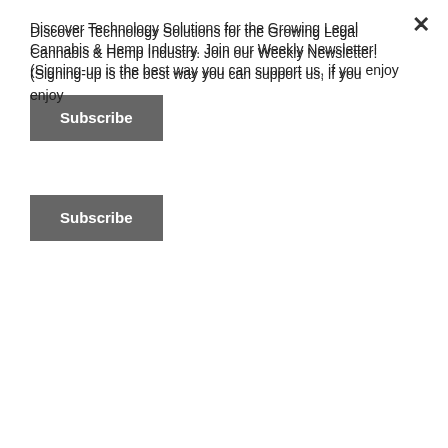Discover Technology Solutions for the Growing Legal Cannabis & Hemp Industry. Join our Weekly Newsletter! (Signing-up is the best way you can support us, if you enjoy
Subscribe
The world's largest cannabis center, Planet 13, donated 2,000 meals to vulnerable seniors and disabled individuals this month in partnership with Clark County Social Services. Terrapin Care Station is donating funds to a local Colorado food bank, and several organizations are throwing live events ranging from painting classes to concerts. Another Colorado business, Good Chemistry, made a $50,000 donation to Colorado's COVID Relief Fund and United Way. Additionally, the company has promised 600 N95 makes to front-line workers in the state. During a time